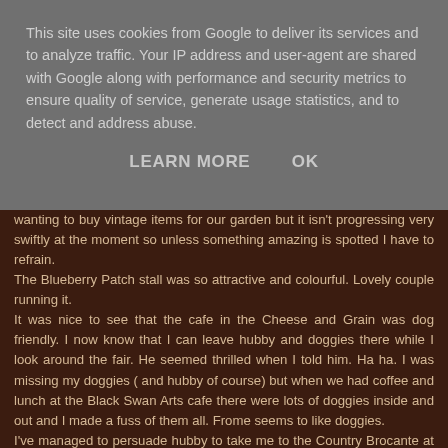This site uses cookies from Google to deliver its services and to analyze traffic. Your IP address and user-agent are shared with Google along with performance and security metrics to ensure quality of service, generate usage statistics, and to detect and address abuse.
LEARN MORE    OK
wanting to buy vintage items for our garden but it isn't progressing very swiftly at the moment so unless something amazing is spotted I have to refrain.
The Blueberry Patch stall was so attractive and colourful. Lovely couple running it.
It was nice to see that the cafe in the Cheese and Grain was dog friendly. I now know that I can leave hubby and doggies there while I look around the fair. He seemed thrilled when I told him. Ha ha. I was missing my doggies ( and hubby of course) but when we had coffee and lunch at the Black Swan Arts cafe there were lots of doggies inside and out and I made a fuss of them all. Frome seems to like doggies.
I've managed to persuade hubby to take me to the Country Brocante at Cowdray end of June.